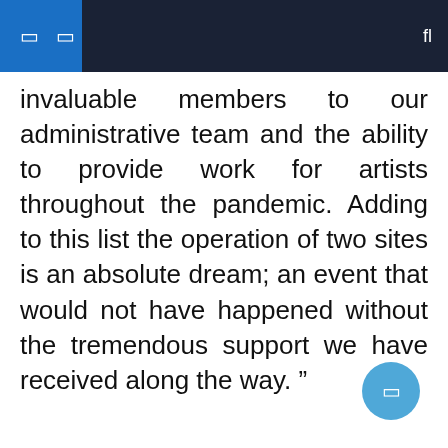invaluable members to our administrative team and the ability to provide work for artists throughout the pandemic. Adding to this list the operation of two sites is an absolute dream; an event that would not have happened without the tremendous support we have received along the way. ”